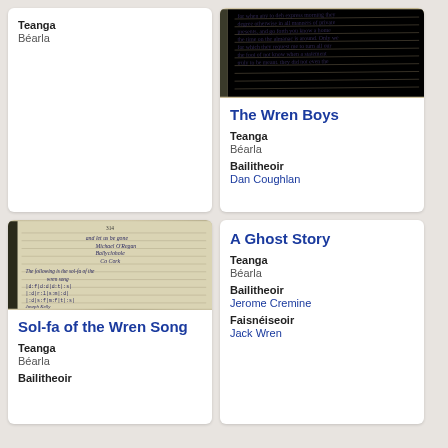Teanga
Béarla
[Figure (photo): Manuscript page with handwritten text, partially visible]
The Wren Boys
Teanga
Béarla
Bailitheoir
Dan Coughlan
[Figure (photo): Open manuscript notebook with handwritten musical notation and text, including 'and let us be gone', 'Michael O'Regan', 'Ballyclohole', 'Co Cork', and sol-fa notation]
Sol-fa of the Wren Song
Teanga
Béarla
Bailitheoir
A Ghost Story
Teanga
Béarla
Bailitheoir
Jerome Cremine
Faisnéiseoir
Jack Wren